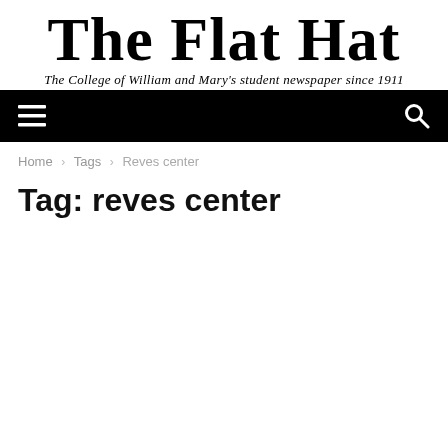THE FLAT HAT
The College of William and Mary's student newspaper since 1911
[Figure (other): Black navigation bar with hamburger menu icon on left and search icon on right]
Home › Tags › Reves center
Tag: reves center